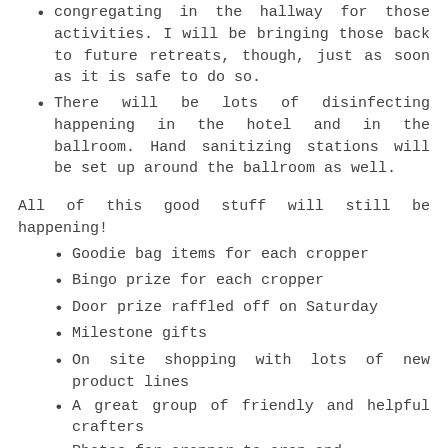congregating in the hallway for those activities. I will be bringing those back to future retreats, though, just as soon as it is safe to do so.
There will be lots of disinfecting happening in the hotel and in the ballroom. Hand sanitizing stations will be set up around the ballroom as well.
All of this good stuff will still be happening!
Goodie bag items for each cropper
Bingo prize for each cropper
Door prize raffled off on Saturday
Milestone gifts
On site shopping with lots of new product lines
A great group of friendly and helpful crafters
Photos for cropper to crop and...